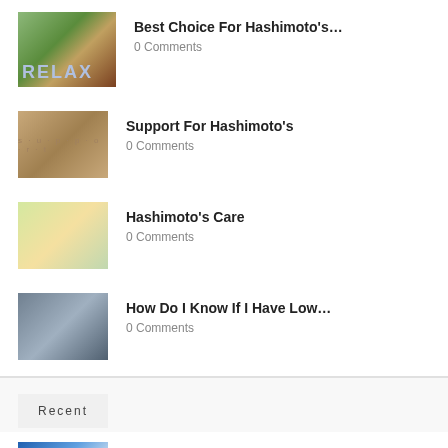Best Choice For Hashimoto's... — 0 Comments
Support For Hashimoto's — 0 Comments
Hashimoto's Care — 0 Comments
How Do I Know If I Have Low... — 0 Comments
Recent
Where To Find Help For Low Thyroid... — 0 Comments